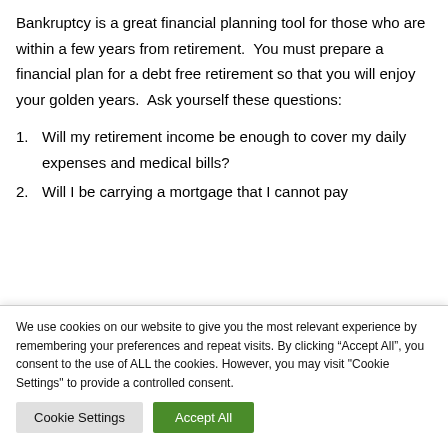Bankruptcy is a great financial planning tool for those who are within a few years from retirement.  You must prepare a financial plan for a debt free retirement so that you will enjoy your golden years.  Ask yourself these questions:
1. Will my retirement income be enough to cover my daily expenses and medical bills?
2. Will I be carrying a mortgage that I cannot pay
We use cookies on our website to give you the most relevant experience by remembering your preferences and repeat visits. By clicking "Accept All", you consent to the use of ALL the cookies. However, you may visit "Cookie Settings" to provide a controlled consent.